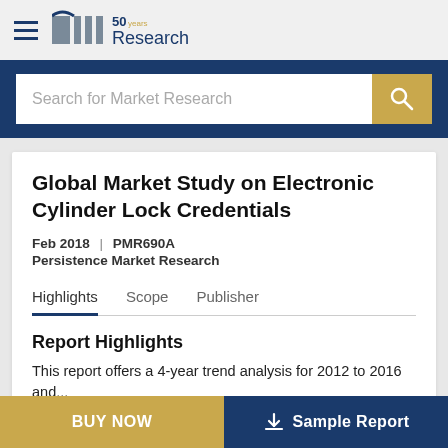[Figure (logo): BCC Research logo with '50 years' text and hamburger menu icon]
[Figure (screenshot): Search bar with placeholder text 'Search for Market Research' and gold search button]
Global Market Study on Electronic Cylinder Lock Credentials
Feb 2018  |  PMR690A
Persistence Market Research
Highlights   Scope   Publisher
Report Highlights
This report offers a 4-year trend analysis for 2012 to 2016 and...
BUY NOW    Sample Report